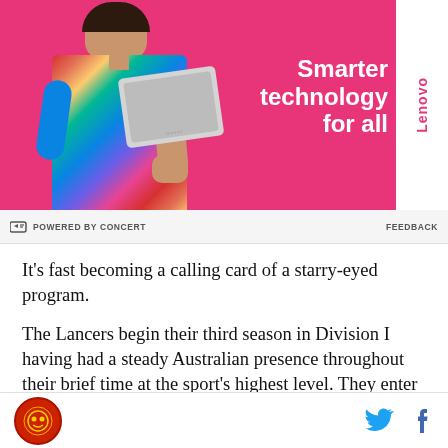[Figure (photo): Lenovo advertisement banner showing a person in colorful outfit holding a laptop, pink background, with text 'Smarter technology for all' and Lenovo logo]
POWERED BY CONCERT   FEEDBACK
It's fast becoming a calling card of a starry-eyed program.
The Lancers begin their third season in Division I having had a steady Australian presence throughout their brief time at the sport's highest level. They enter the season with three Aussies on the roster, highlighted by sophomores Armstrong (15.8 MPG, 4.0 PPG) and Sydney native Reed Nottage (14.8 MPG, 3.1 PPG),
Site logo | Twitter | Facebook